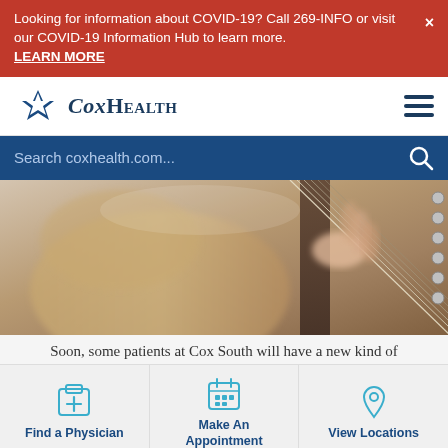Looking for information about COVID-19? Call 269-INFO or visit our COVID-19 Information Hub to learn more. LEARN MORE
[Figure (logo): CoxHealth logo with blue four-pointed star icon and serif text]
[Figure (photo): Close-up photo of hands playing an acoustic guitar]
Soon, some patients at Cox South will have a new kind of
Find a Physician
Make An Appointment
View Locations